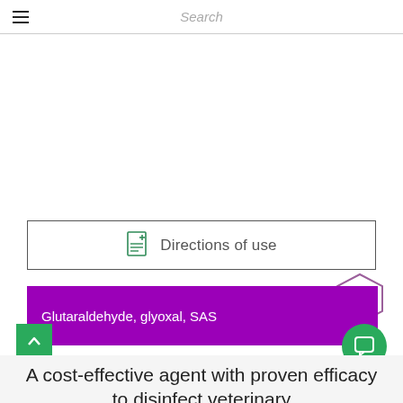Search
Directions of use
Glutaraldehyde, glyoxal, SAS
A cost-effective agent with proven efficacy to disinfect veterinary